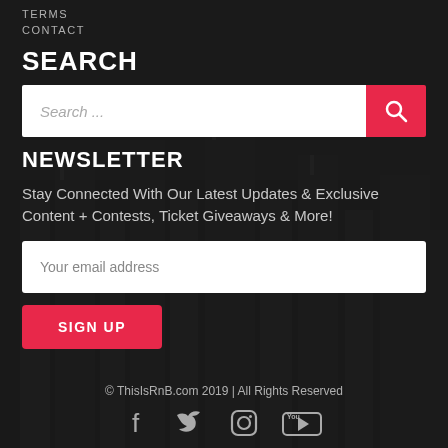TERMS
CONTACT
SEARCH
[Figure (screenshot): Search input bar with placeholder text 'Search ...' and a red search button with magnifying glass icon]
NEWSLETTER
Stay Connected With Our Latest Updates & Exclusive Content + Contests, Ticket Giveaways & More!
[Figure (screenshot): Email address input field with placeholder 'Your email address']
[Figure (screenshot): Red SIGN UP button]
© ThisIsRnB.com 2019 | All Rights Reserved
[Figure (infographic): Social media icons: Facebook, Twitter, Instagram, YouTube]